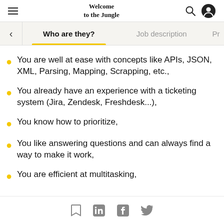Welcome to the Jungle
Who are they? | Job description | Pr
You are well at ease with concepts like APIs, JSON, XML, Parsing, Mapping, Scrapping, etc.,
You already have an experience with a ticketing system (Jira, Zendesk, Freshdesk...),
You know how to prioritize,
You like answering questions and can always find a way to make it work,
You are efficient at multitasking,
Social share icons: bookmark, LinkedIn, Facebook, Twitter